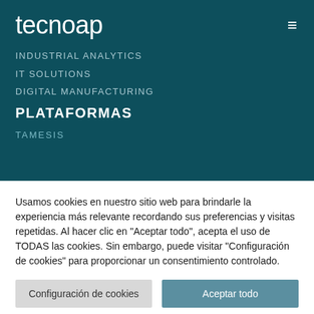[Figure (logo): Tecnoap company logo in white text on dark teal background]
INDUSTRIAL ANALYTICS
IT SOLUTIONS
DIGITAL MANUFACTURING
PLATAFORMAS
TAMESIS
Usamos cookies en nuestro sitio web para brindarle la experiencia más relevante recordando sus preferencias y visitas repetidas. Al hacer clic en "Aceptar todo", acepta el uso de TODAS las cookies. Sin embargo, puede visitar "Configuración de cookies" para proporcionar un consentimiento controlado.
Configuración de cookies | Aceptar todo